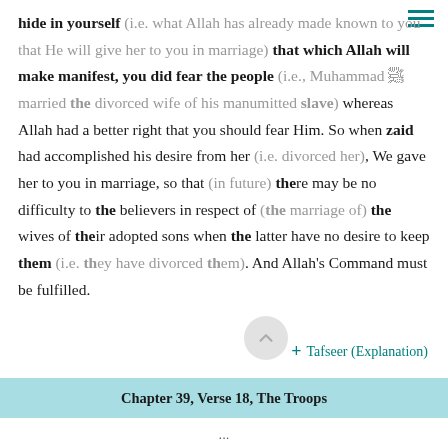hide in yourself (i.e. what Allah has already made known to you that He will give her to you in marriage) that which Allah will make manifest, you did fear the people (i.e., Muhammad ﷺ married the divorced wife of his manumitted slave) whereas Allah had a better right that you should fear Him. So when zaid had accomplished his desire from her (i.e. divorced her), We gave her to you in marriage, so that (in future) there may be no difficulty to the believers in respect of (the marriage of) the wives of their adopted sons when the latter have no desire to keep them (i.e. they have divorced them). And Allah's Command must be fulfilled.
+ Tafseer (Explanation)
Chapter 39, Verse 18, The Troops